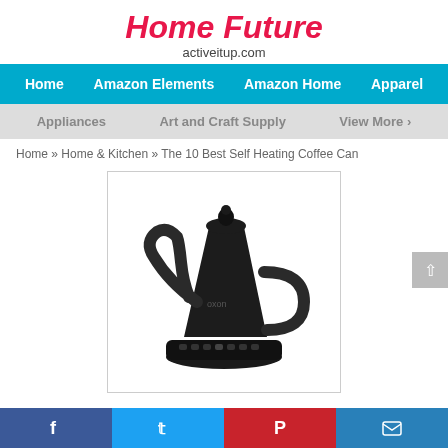Home Future
activeitup.com
Home  |  Amazon Elements  |  Amazon Home  |  Apparel
Appliances  |  Art and Craft Supply  |  View More
Home » Home & Kitchen » The 10 Best Self Heating Coffee Can
[Figure (photo): Black gooseneck electric kettle with digital controls at base, product photo on white background]
The 10 Best Self Heating Coffee